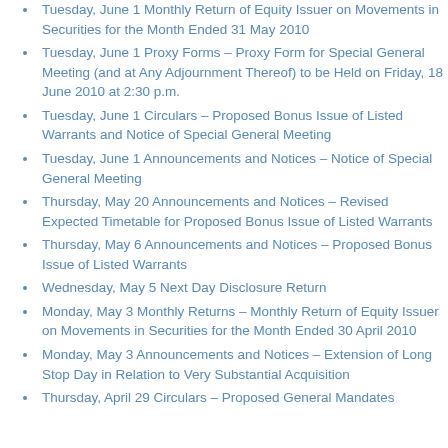Tuesday, June 1 Monthly Return of Equity Issuer on Movements in Securities for the Month Ended 31 May 2010
Tuesday, June 1 Proxy Forms – Proxy Form for Special General Meeting (and at Any Adjournment Thereof) to be Held on Friday, 18 June 2010 at 2:30 p.m.
Tuesday, June 1 Circulars – Proposed Bonus Issue of Listed Warrants and Notice of Special General Meeting
Tuesday, June 1 Announcements and Notices – Notice of Special General Meeting
Thursday, May 20 Announcements and Notices – Revised Expected Timetable for Proposed Bonus Issue of Listed Warrants
Thursday, May 6 Announcements and Notices – Proposed Bonus Issue of Listed Warrants
Wednesday, May 5 Next Day Disclosure Return
Monday, May 3 Monthly Returns – Monthly Return of Equity Issuer on Movements in Securities for the Month Ended 30 April 2010
Monday, May 3 Announcements and Notices – Extension of Long Stop Day in Relation to Very Substantial Acquisition
Thursday, April 29 Circulars – Proposed General Mandates